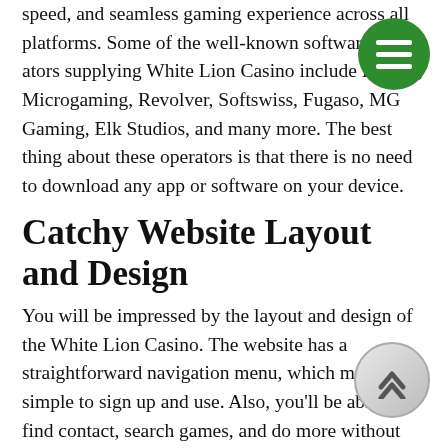speed, and seamless gaming experience across all platforms. Some of the well-known software creators supplying White Lion Casino include Betsoft, Microgaming, Revolver, Softswiss, Fugaso, MG Gaming, Elk Studios, and many more. The best thing about these operators is that there is no need to download any app or software on your device.
Catchy Website Layout and Design
You will be impressed by the layout and design of the White Lion Casino. The website has a straightforward navigation menu, which makes it simple to sign up and use. Also, you'll be able to find contact, search games, and do more without much struggle. There are filters to help you find what you are searching for. This casino site utilizes a responsive and intuitive design that works perfectly on all devices, including Android, iPad, iPhone